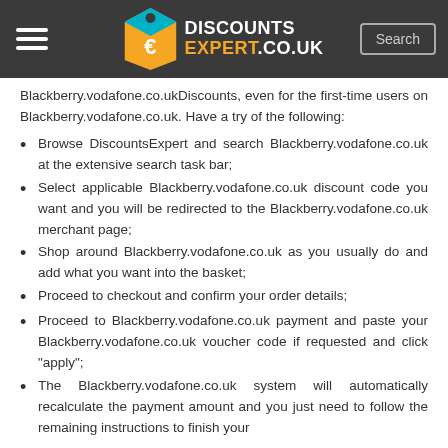DISCOUNTS EXPERT.CO.UK
Blackberry.vodafone.co.ukDiscounts, even for the first-time users on Blackberry.vodafone.co.uk. Have a try of the following:
Browse DiscountsExpert and search Blackberry.vodafone.co.uk at the extensive search task bar;
Select applicable Blackberry.vodafone.co.uk discount code you want and you will be redirected to the Blackberry.vodafone.co.uk merchant page;
Shop around Blackberry.vodafone.co.uk as you usually do and add what you want into the basket;
Proceed to checkout and confirm your order details;
Proceed to Blackberry.vodafone.co.uk payment and paste your Blackberry.vodafone.co.uk voucher code if requested and click "apply";
The Blackberry.vodafone.co.uk system will automatically recalculate the payment amount and you just need to follow the remaining instructions to finish your